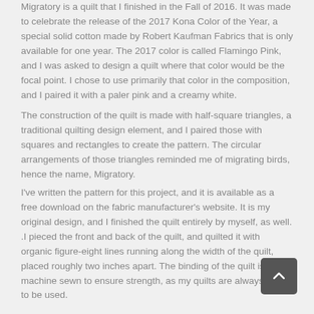Migratory is a quilt that I finished in the Fall of 2016. It was made to celebrate the release of the 2017 Kona Color of the Year, a special solid cotton made by Robert Kaufman Fabrics that is only available for one year. The 2017 color is called Flamingo Pink, and I was asked to design a quilt where that color would be the focal point. I chose to use primarily that color in the composition, and I paired it with a paler pink and a creamy white.
The construction of the quilt is made with half-square triangles, a traditional quilting design element, and I paired those with squares and rectangles to create the pattern. The circular arrangements of those triangles reminded me of migrating birds, hence the name, Migratory.
I've written the pattern for this project, and it is available as a free download on the fabric manufacturer's website. It is my original design, and I finished the quilt entirely by myself, as well. .I pieced the front and back of the quilt, and quilted it with organic figure-eight lines running along the width of the quilt, placed roughly two inches apart. The binding of the quilt is machine sewn to ensure strength, as my quilts are always made to be used.